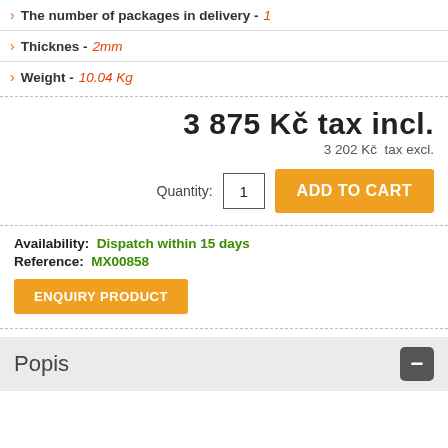> The number of packages in delivery - 1
> Thicknes - 2mm
> Weight - 10.04 Kg
3 875 Kč tax incl.
3 202 Kč  tax excl.
Quantity: 1  ADD TO CART
Availability: Dispatch within 15 days
Reference: MX00858
ENQUIRY PRODUCT
Popis